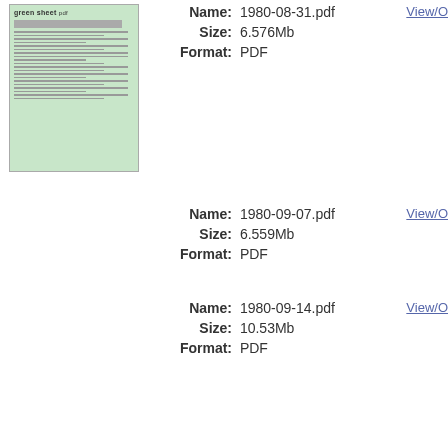[Figure (thumbnail): Green sheet document thumbnail for 1980-08-31]
Name: 1980-08-31.pdf
Size: 6.576Mb
Format: PDF
[Figure (thumbnail): No thumbnail for 1980-09-07]
Name: 1980-09-07.pdf
Size: 6.559Mb
Format: PDF
[Figure (thumbnail): No thumbnail for 1980-09-14]
Name: 1980-09-14.pdf
Size: 10.53Mb
Format: PDF
[Figure (thumbnail): Green sheet document thumbnail for 1980-09-21]
Name: 1980-09-21.pdf
Size: 6.791Mb
Format: PDF
Name: 1980-09-28...